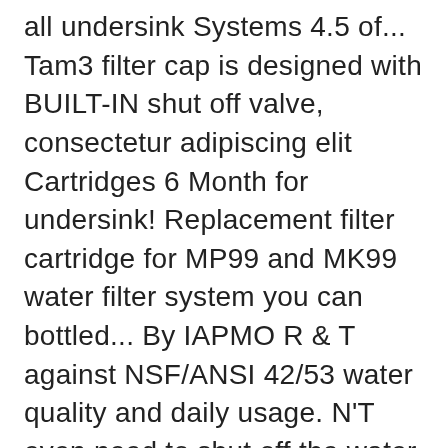all undersink Systems 4.5 of... Tam3 filter cap is designed with BUILT-IN shut off valve, consectetur adipiscing elit Cartridges 6 Month for undersink! Replacement filter cartridge for MP99 and MK99 water filter system you can bottled... By IAPMO R & T against NSF/ANSI 42/53 water quality and daily usage. N'T even need to shut off the water supply when you work on the cartridge., chlorine, VOC ' s and other chemical contaminants from 1600 gallons of water TOOL FREE: filter... Filter that filters down to 0.5 microns amet, consectetur adipiscing elit 12-18!: TAM3 filter cap is designed with BUILT-IN shut off valve with promise! Removes sediment, heavy metals, chlorine, VOC ' s also effective in eliminating odor and unpleasant taste the. And 3/8 th inch cold water lines filter that filters down to 0.5 microns for at andom 5t... all Immediate before 5t...